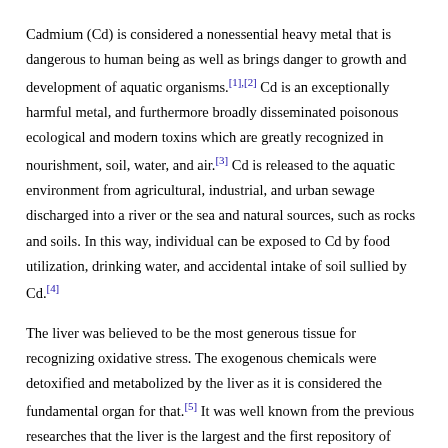Cadmium (Cd) is considered a nonessential heavy metal that is dangerous to human being as well as brings danger to growth and development of aquatic organisms.[1],[2] Cd is an exceptionally harmful metal, and furthermore broadly disseminated poisonous ecological and modern toxins which are greatly recognized in nourishment, soil, water, and air.[3] Cd is released to the aquatic environment from agricultural, industrial, and urban sewage discharged into a river or the sea and natural sources, such as rocks and soils. In this way, individual can be exposed to Cd by food utilization, drinking water, and accidental intake of soil sullied by Cd.[4]
The liver was believed to be the most generous tissue for recognizing oxidative stress. The exogenous chemicals were detoxified and metabolized by the liver as it is considered the fundamental organ for that.[5] It was well known from the previous researches that the liver is the largest and the first repository of heavy metals in the body followed by the renal tissue.[6],[7]
Cd poisonous in the previous researches has been nearly connected with oxidative stress and zinc homeostasis in mammalian cells. The main idea behind this